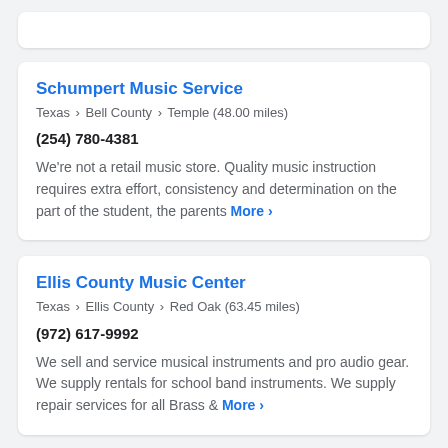Schumpert Music Service
Texas › Bell County › Temple (48.00 miles)
(254) 780-4381
We're not a retail music store. Quality music instruction requires extra effort, consistency and determination on the part of the student, the parents More ›
Ellis County Music Center
Texas › Ellis County › Red Oak (63.45 miles)
(972) 617-9992
We sell and service musical instruments and pro audio gear. We supply rentals for school band instruments. We supply repair services for all Brass & More ›